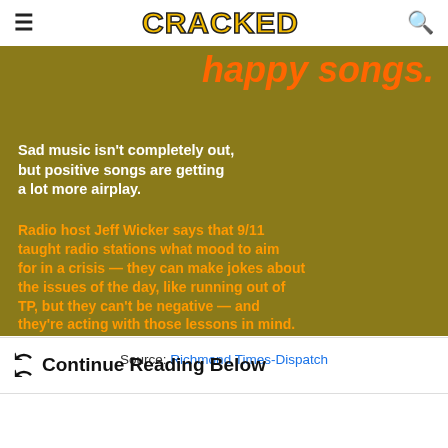≡   CRACKED   🔍
[Figure (screenshot): Dark golden/olive background image with text overlay. Top right in orange italic bold: 'happy songs.' White bold text: 'Sad music isn't completely out, but positive songs are getting a lot more airplay.' Orange bold text: 'Radio host Jeff Wicker says that 9/11 taught radio stations what mood to aim for in a crisis — they can make jokes about the issues of the day, like running out of TP, but they can't be negative — and they're acting with those lessons in mind.']
Source: Richmond Times-Dispatch
Continue Reading Below